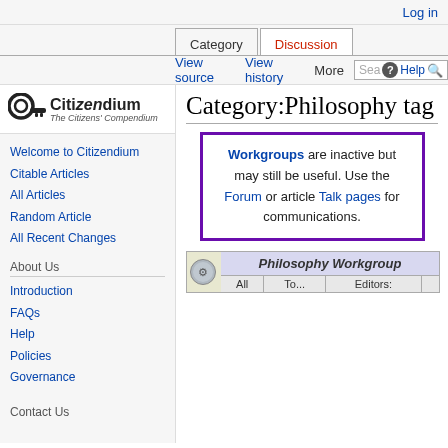Log in
Category   Discussion   View source   View history   More   Search   Help
[Figure (logo): Citizendium logo with key icon and text 'The Citizens Compendium']
Category:Philosophy tag
Workgroups are inactive but may still be useful. Use the Forum or article Talk pages for communications.
|  | Philosophy Workgroup |  |  |  |
| --- | --- | --- | --- | --- |
|  | All | To... | Editors: |  |